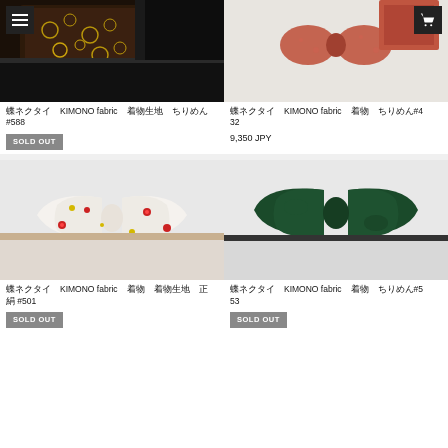[Figure (photo): Dark patterned kimono fabric folded, with golden floral pattern on black background]
[Figure (photo): Coral/pink textured bow tie with floral embossing on white background]
蝶ネクタイ KIMONO fabric 着物生地 ちりめん #588
SOLD OUT
蝶ネクタイ KIMONO fabric 着物 ちりめん#432
9,350 JPY
[Figure (photo): White bow tie with small red flowers and yellow accents on white background]
[Figure (photo): Dark green solid bow tie on white background]
蝶ネクタイ KIMONO fabric 着物 着物生地 正絹 #501
SOLD OUT
蝶ネクタイ KIMONO fabric 着物 ちりめん#553
SOLD OUT